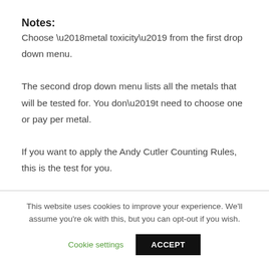Notes:
Choose ‘metal toxicity’ from the first drop down menu.
The second drop down menu lists all the metals that will be tested for. You don’t need to choose one or pay per metal.
If you want to apply the Andy Cutler Counting Rules, this is the test for you.
This website uses cookies to improve your experience. We’ll assume you’re ok with this, but you can opt-out if you wish.
Cookie settings   ACCEPT